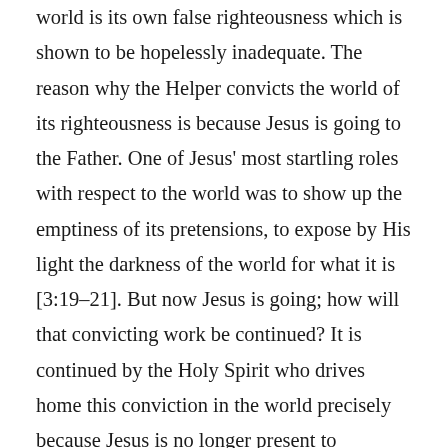world is its own false righteousness which is shown to be hopelessly inadequate. The reason why the Helper convicts the world of its righteousness is because Jesus is going to the Father. One of Jesus' most startling roles with respect to the world was to show up the emptiness of its pretensions, to expose by His light the darkness of the world for what it is [3:19–21]. But now Jesus is going; how will that convicting work be continued? It is continued by the Holy Spirit who drives home this conviction in the world precisely because Jesus is no longer present to discharge this task. Undoubtedly this kind of conviction is driven home to the world primarily through Jesus' followers who, empowered by the Holy Spirit, live their lives in such growing conformity to Christ that the same impact on the world is observed as when Jesus Himself lived out His life before the world. That this